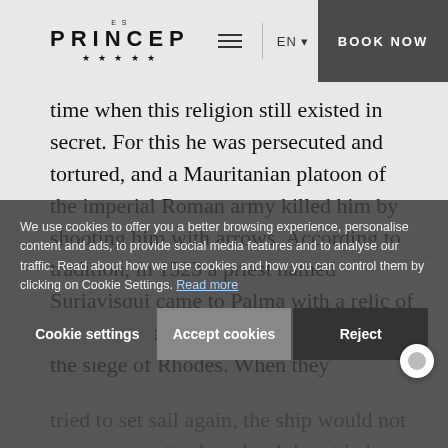ES PRINCEP ★★★★★ | EN | BOOK NOW
time when this religion still existed in secret. For this he was persecuted and tortured, and a Mauritanian platoon of the imperial Roman army killed him by shooting him with arrows. According to tradition, in 1523 a priest named Suriavisqui came to Palma with a relic of Saint Sebastian that he had rescued from the siege of Rhodes. When they tried to set sail again, the ship would not move, no matter how hard they tried. This fact was interpreted as a manifestation of the divine will, and it was decided to leave the relic in Palma Cathedral. For many years, Sant Sebastià was considered protection against disease. The veneration of the saint grew until he was named patron saint of the city in 1642.
We use cookies to offer you a better browsing experience, personalise content and ads, to provide social media features and to analyse our traffic. Read about how we use cookies and how you can control them by clicking on Cookie Settings. Read more
Cookie settings
Accept cookies
Reject